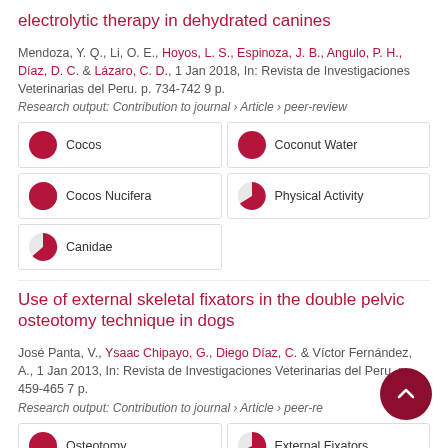electrolytic therapy in dehydrated canines
Mendoza, Y. Q., Li, O. E., Hoyos, L. S., Espinoza, J. B., Angulo, P. H., Díaz, D. C. & Lázaro, C. D., 1 Jan 2018, In: Revista de Investigaciones Veterinarias del Peru. p. 734-742 9 p.
Research output: Contribution to journal › Article › peer-review
[Figure (other): Keyword badges with pie chart icons: Cocos (100%), Coconut Water (100%), Cocos Nucifera (85%), Physical Activity (65%), Canidae (60%)]
Use of external skeletal fixators in the double pelvic osteotomy technique in dogs
José Panta, V., Ysaac Chipayo, G., Diego Díaz, C. & Víctor Fernández, A., 1 Jan 2013, In: Revista de Investigaciones Veterinarias del Peru. p. 459-465 7 p.
Research output: Contribution to journal › Article › peer-review
[Figure (other): Keyword badges with pie chart icons: Osteotomy (100%), External Fixators (80%)]